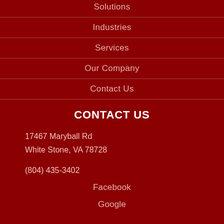Solutions
Industries
Services
Our Company
Contact Us
CONTACT US
17467 Maryball Rd
White Stone, VA 78728
(804) 435-3402
Facebook
Google